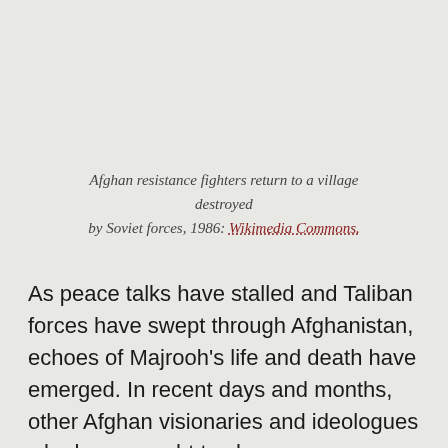Afghan resistance fighters return to a village destroyed by Soviet forces, 1986: Wikimedia Commons.
As peace talks have stalled and Taliban forces have swept through Afghanistan, echoes of Majrooh's life and death have emerged. In recent days and months, other Afghan visionaries and ideologues who have sought to shape Afghanistan's institutions and society have been killed, viewed as opponents of the Taliban as it seeks to take charge of Afghanistan's political future. Not only that, but attention again